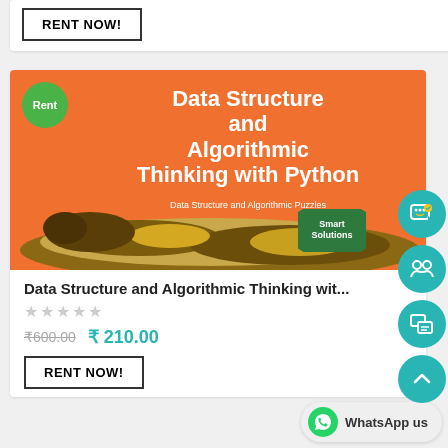RENT NOW!
[Figure (photo): Book cover for 'Data Structure and Algorithmic Thinking with Python - Data Structure and Algorithmic Puzzles' on an orange background with a python snake and Smart Solutions badge. A green 'Rent' circle badge is in the top-left corner.]
Data Structure and Algorithmic Thinking wit...
★★★★★
₹600.00  ₹ 210.00
RENT NOW!
WhatsApp us